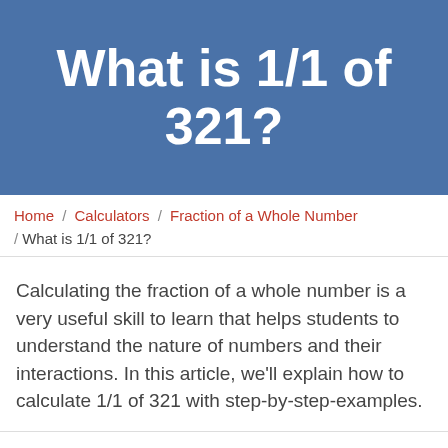What is 1/1 of 321?
Home / Calculators / Fraction of a Whole Number / What is 1/1 of 321?
Calculating the fraction of a whole number is a very useful skill to learn that helps students to understand the nature of numbers and their interactions. In this article, we'll explain how to calculate 1/1 of 321 with step-by-step-examples.
MY LATEST VIDEOS